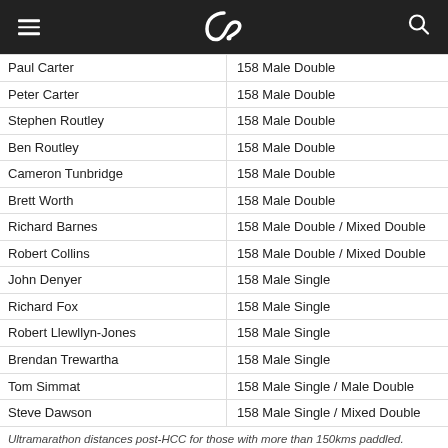[navigation header with logo]
| Name | Distance / Event |
| --- | --- |
| Paul Carter | 158 Male Double |
| Peter Carter | 158 Male Double |
| Stephen Routley | 158 Male Double |
| Ben Routley | 158 Male Double |
| Cameron Tunbridge | 158 Male Double |
| Brett Worth | 158 Male Double |
| Richard Barnes | 158 Male Double / Mixed Double |
| Robert Collins | 158 Male Double / Mixed Double |
| John Denyer | 158 Male Single |
| Richard Fox | 158 Male Single |
| Robert Llewllyn-Jones | 158 Male Single |
| Brendan Trewartha | 158 Male Single |
| Tom Simmat | 158 Male Single / Male Double |
| Steve Dawson | 158 Male Single / Mixed Double |
Ultramarathon distances post-HCC for those with more than 150kms paddled.
‘Fastest Paddler’ status is given to the paddler who has completed the most races at the fastest average speed, so four races beats three no matter what the average speed.
In the Female Singles, Ruby Ardren is currently sitting on an